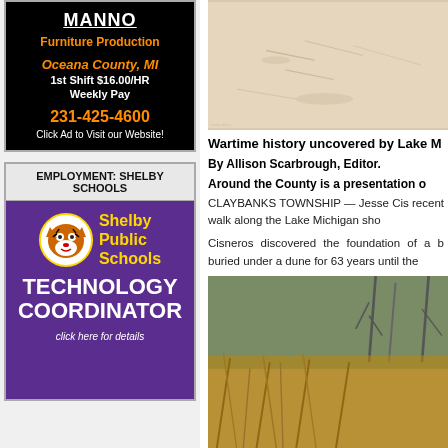[Figure (illustration): Black background advertisement for furniture production jobs. Title text underlined, orange subtitle 'Furniture Production', orange italic 'Oceana County, MI', white text '1st Shift $16.00/HR', 'Weekly Pay', orange phone number '231-425-4600', white 'Click Ad to Visit our Website!']
EMPLOYMENT: SHELBY SCHOOLS
[Figure (illustration): Purple background ad for Shelby Public Schools Technology Coordinator position. Yellow text 'Shelby Public Schools', tiger mascot logo, white bold 'TECHNOLOGY COORDINATOR', white italic 'click here for details']
[Figure (photo): Sandy/snowy beach scene with faint marks or tracks visible on the surface]
Wartime history uncovered by Lake M
By Allison Scarbrough, Editor.
Around the County is a presentation o
CLAYBANKS TOWNSHIP — Jesse Cis recent walk along the Lake Michigan sho
Cisneros discovered the foundation of a b buried under a dune for 63 years until the
[Figure (photo): Outdoor scene showing brown dried grasses or reeds in foreground with bare winter trees in background]